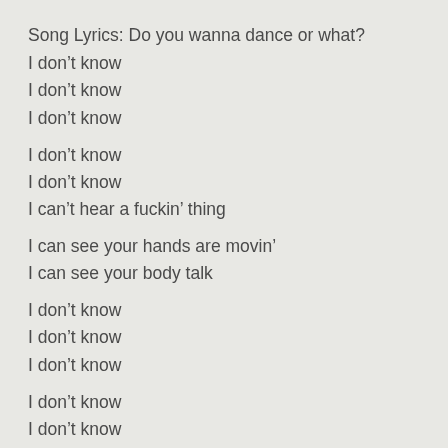Song Lyrics: Do you wanna dance or what?
I don’t know
I don’t know
I don’t know
I don’t know
I don’t know
I can’t hear a fuckin’ thing
I can see your hands are movin’
I can see your body talk
I don’t know
I don’t know
I don’t know
I don’t know
I don’t know